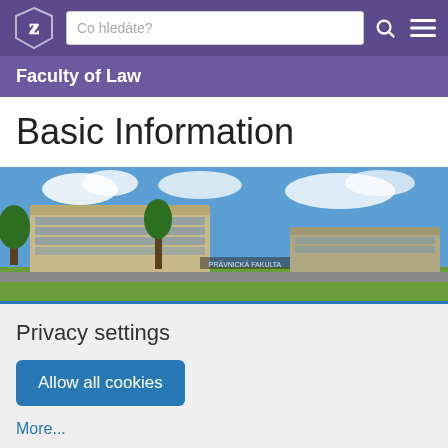[Figure (logo): University shield/crest logo in white on purple background]
Co hledáte?
Faculty of Law
Basic Information
[Figure (photo): Exterior photo of a Faculty of Law university building with trees and blue sky]
Privacy settings
Allow all cookies
More...
was established as the first post-revolution faculty of...